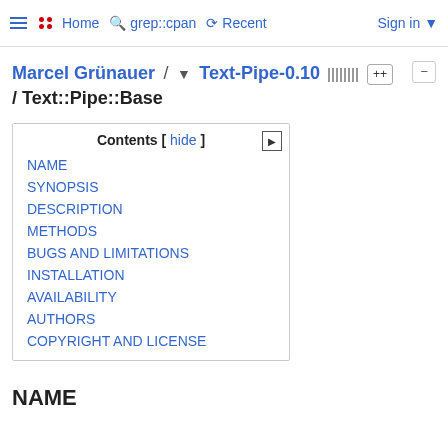Home  grep::cpan  Recent  Sign in
Marcel Grünauer / Text-Pipe-0.10 / Text::Pipe::Base
| Contents |
| --- |
| NAME |
| SYNOPSIS |
| DESCRIPTION |
| METHODS |
| BUGS AND LIMITATIONS |
| INSTALLATION |
| AVAILABILITY |
| AUTHORS |
| COPYRIGHT AND LICENSE |
NAME